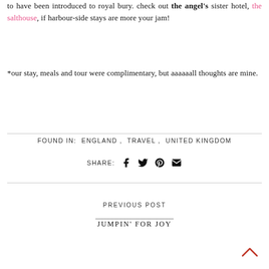to have been introduced to royal bury. check out the angel's sister hotel, the salthouse, if harbour-side stays are more your jam!
*our stay, meals and tour were complimentary, but aaaaaall thoughts are mine.
FOUND IN: ENGLAND , TRAVEL , UNITED KINGDOM
SHARE: [facebook] [twitter] [pinterest] [email]
PREVIOUS POST
JUMPIN' FOR JOY